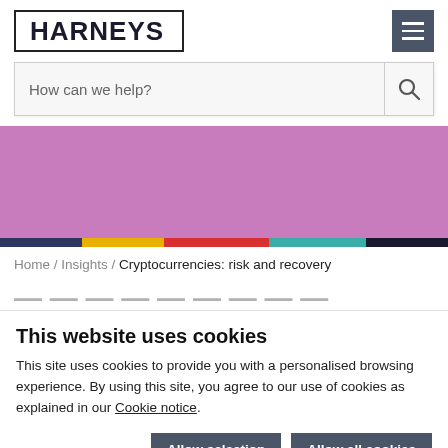HARNEYS
How can we help?
[Figure (screenshot): Purple banner with colored horizontal strip (dark blue, yellow, red, teal, dark navy)]
Home / Insights / Cryptocurrencies: risk and recovery
This website uses cookies
This site uses cookies to provide you with a personalised browsing experience. By using this site, you agree to our use of cookies as explained in our Cookie notice.